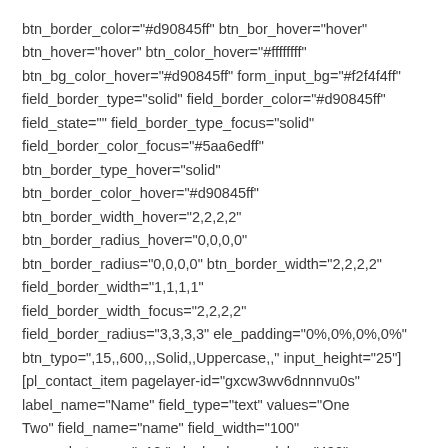btn_border_color="#d90845ff" btn_bor_hover="hover" btn_hover="hover" btn_color_hover="#ffffffff" btn_bg_color_hover="#d90845ff" form_input_bg="#f2f4f4ff" field_border_type="solid" field_border_color="#d90845ff" field_state="" field_border_type_focus="solid" field_border_color_focus="#5aa6edff" btn_border_type_hover="solid" btn_border_color_hover="#d90845ff" btn_border_width_hover="2,2,2,2" btn_border_radius_hover="0,0,0,0" btn_border_radius="0,0,0,0" btn_border_width="2,2,2,2" field_border_width="1,1,1,1" field_border_width_focus="2,2,2,2" field_border_radius="3,3,3,3" ele_padding="0%,0%,0%,0%" btn_typo=",15,,600,,,Solid,,Uppercase,," input_height="25"] [pl_contact_item pagelayer-id="gxcw3wv6dnnnvu0s" label_name="Name" field_type="text" values="One Two" field_name="name" field_width="100" space_between=",,10," ele_bg_hover_delay="400" label_as_holder="true" field_display=""